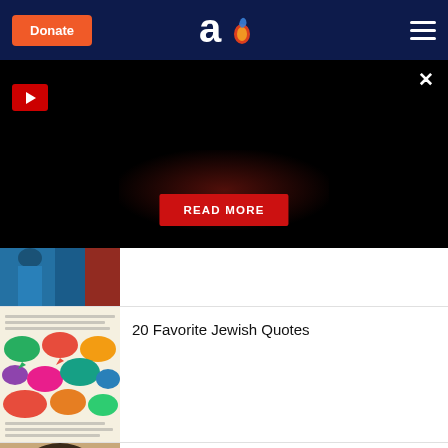Donate | Aish.com logo | Menu
[Figure (screenshot): Black video overlay area with red play button top-left, X close button top-right, red READ MORE button centered near bottom]
[Figure (photo): Partially visible thumbnail: person in blue outfit on red couch]
[Figure (illustration): Colorful speech bubbles on Hebrew text background]
20 Favorite Jewish Quotes
[Figure (photo): Man with dark hair, partial face visible at bottom of page]
Chicken Soup for the Mind